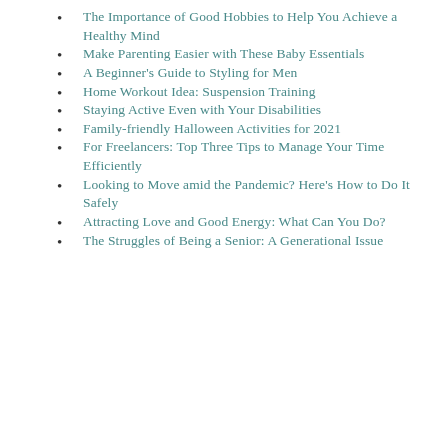The Importance of Good Hobbies to Help You Achieve a Healthy Mind
Make Parenting Easier with These Baby Essentials
A Beginner's Guide to Styling for Men
Home Workout Idea: Suspension Training
Staying Active Even with Your Disabilities
Family-friendly Halloween Activities for 2021
For Freelancers: Top Three Tips to Manage Your Time Efficiently
Looking to Move amid the Pandemic? Here's How to Do It Safely
Attracting Love and Good Energy: What Can You Do?
The Struggles of Being a Senior: A Generational Issue